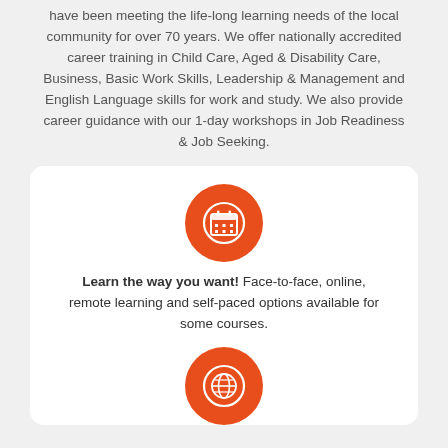have been meeting the life-long learning needs of the local community for over 70 years. We offer nationally accredited career training in Child Care, Aged & Disability Care, Business, Basic Work Skills, Leadership & Management and English Language skills for work and study. We also provide career guidance with our 1-day workshops in Job Readiness & Job Seeking.
[Figure (infographic): Orange circle icon with a calendar/grid symbol inside, representing scheduling or dates.]
Learn the way you want! Face-to-face, online, remote learning and self-paced options available for some courses.
[Figure (infographic): Orange circle icon with a globe/world symbol inside, representing online or international learning.]